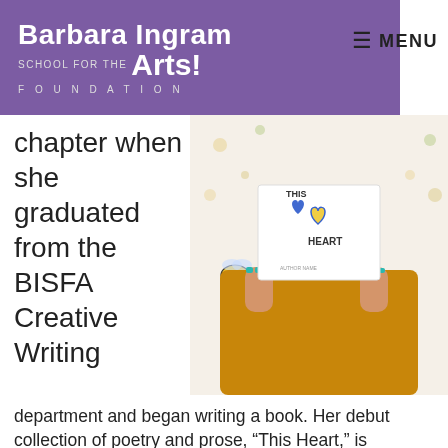Barbara Ingram School for the Arts! FOUNDATION
chapter when she graduated from the BISFA Creative Writing
[Figure (photo): Person holding up a book titled 'This Heart' covering their face, wearing a yellow/mustard top, with a floral wallpaper background featuring bees and flowers.]
department and began writing a book. Her debut collection of poetry and prose, “This Heart,” is described by the author as “sad, strong [and] uplifting.” She explained, “Most of these started out as just notes I would write to myself when I was having a bad day. A lot of the…